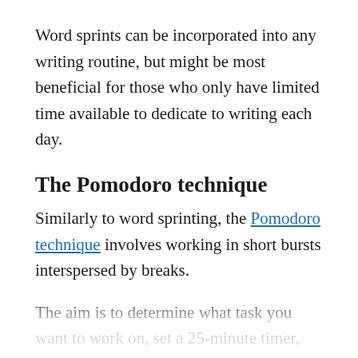Word sprints can be incorporated into any writing routine, but might be most beneficial for those who only have limited time available to dedicate to writing each day.
The Pomodoro technique
Similarly to word sprinting, the Pomodoro technique involves working in short bursts interspersed by breaks.
The aim is to determine what task you want to work on, set a 25-minute timer, work on that task until the timer goes off, then take a short break (usually five minutes). Once you've completed four 25 minute rounds, a longer break (20-30 minutes) is taken to